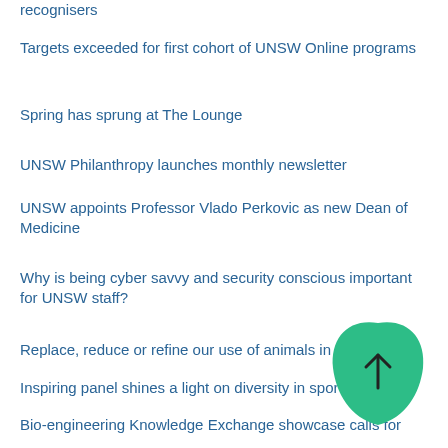recognisers
Targets exceeded for first cohort of UNSW Online programs
Spring has sprung at The Lounge
UNSW Philanthropy launches monthly newsletter
UNSW appoints Professor Vlado Perkovic as new Dean of Medicine
Why is being cyber savvy and security conscious important for UNSW staff?
Replace, reduce or refine our use of animals in research
Inspiring panel shines a light on diversity in sport
Bio-engineering Knowledge Exchange showcase calls for